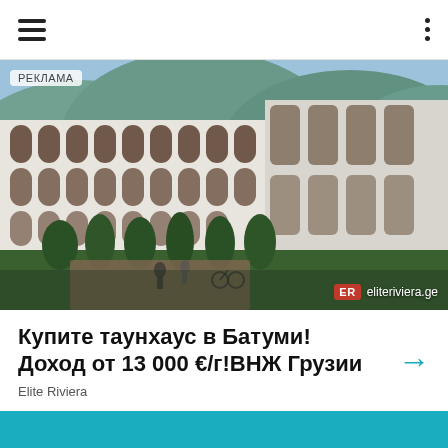≡  ⋮
[Figure (photo): Aerial/street-level view of a multi-story luxury townhouse complex with white walls, arched tall windows, and manicured hedges. Mountains with green forest in the background. People walking and cycling near the entrance. Badge: РЕКЛАМА (advertisement) top-left. ER logo with eliteriviera.ge bottom-right.]
Купите таунхаус в Батуми! Доход от 13 000 €/г!ВНЖ Грузии
Elite Riviera